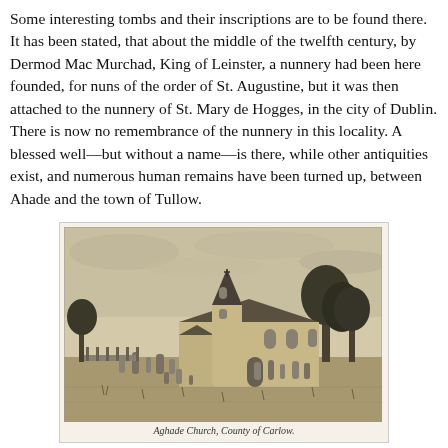Some interesting tombs and their inscriptions are to be found there. It has been stated, that about the middle of the twelfth century, by Dermod Mac Murchad, King of Leinster, a nunnery had been here founded, for nuns of the order of St. Augustine, but it was then attached to the nunnery of St. Mary de Hogges, in the city of Dublin. There is now no remembrance of the nunnery in this locality. A blessed well—but without a name—is there, while other antiquities exist, and numerous human remains have been turned up, between Ahade and the town of Tullow.
[Figure (illustration): A black and white engraving of Aghade Church, County of Carlow, showing a Gothic-style church with a tall spire, surrounded by gravestones and trees.]
Aghade Church, County of Carlow.